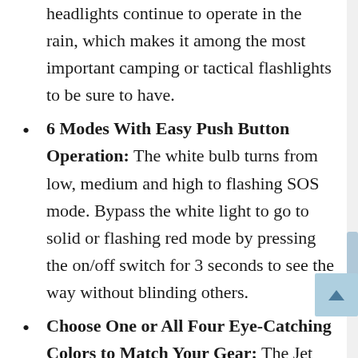headlights continue to operate in the rain, which makes it among the most important camping or tactical flashlights to be sure to have.
6 Modes With Easy Push Button Operation: The white bulb turns from low, medium and high to flashing SOS mode. Bypass the white light to go to solid or flashing red mode by pressing the on/off switch for 3 seconds to see the way without blinding others.
Choose One or All Four Eye-Catching Colors to Match Your Gear: The Jet Black headlight flashlight is the top pick for individuals who like the all-time classic as it complements any item. Pick a different color such as Bright White for your running belt or be more...